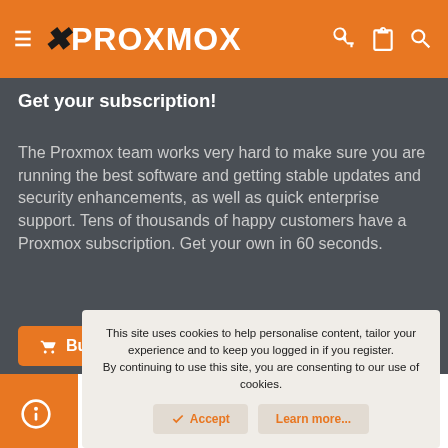≡ ✕PROXMOX [key icon] [clipboard icon] [search icon]
Get your subscription!
The Proxmox team works very hard to make sure you are running the best software and getting stable updates and security enhancements, as well as quick enterprise support. Tens of thousands of happy customers have a Proxmox subscription. Get your own in 60 seconds.
🛒 Buy now!
This site uses cookies to help personalise content, tailor your experience and to keep you logged in if you register. By continuing to use this site, you are consenting to our use of cookies.
✓ Accept   Learn more...